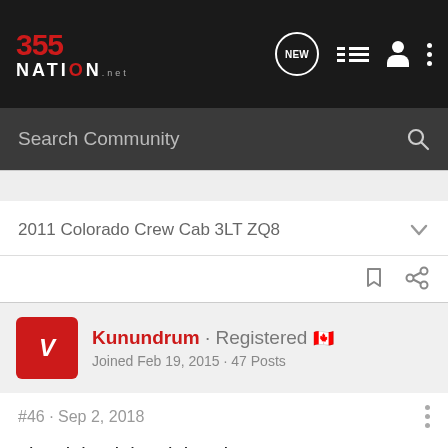355 NATION
Search Community
2011 Colorado Crew Cab 3LT ZQ8
Kunundrum · Registered 🇨🇦
Joined Feb 19, 2015 · 47 Posts
#46 · Sep 2, 2018
I just joined the club today